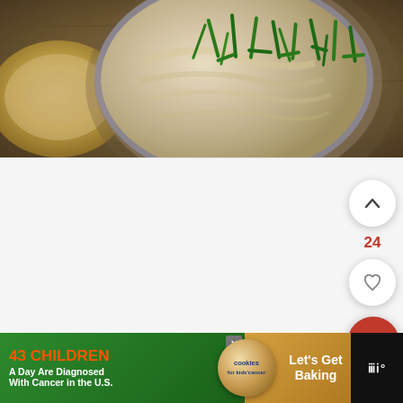[Figure (photo): A bowl of creamy dip topped with chopped chives, served with sliced bread on a wooden surface. Overhead/angled view.]
[Figure (screenshot): White content area below the food photo with scroll-up arrow button, number 24, heart/favorite button, and red search/magnify button on the right side.]
24
[Figure (infographic): Advertisement banner: green background with orange text '43 CHILDREN A Day Are Diagnosed With Cancer in the U.S.' next to cookies for kids cancer logo and 'Let's Get Baking' text on brown/tan background. Close (X) button visible. Wordmark logo on right.]